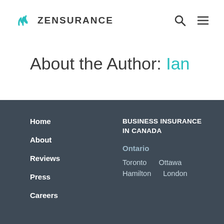ZENSURANCE
About the Author: Ian
Home
About
Reviews
Press
Careers
BUSINESS INSURANCE IN CANADA
Ontario
Toronto  Ottawa
Hamilton  London